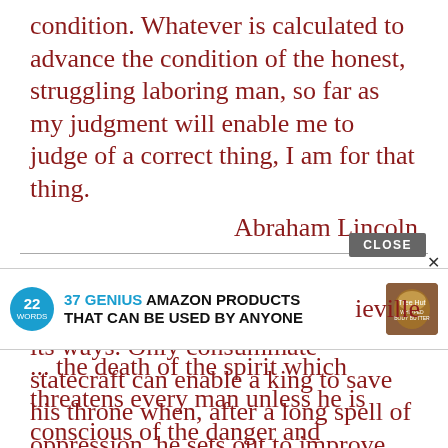condition. Whatever is calculated to advance the condition of the honest, struggling laboring man, so far as my judgment will enable me to judge of a correct thing, I am for that thing.
Abraham Lincoln
The most perilous moment for a bad government is when it seeks to mend its ways. Only consummate statecraft can enable a king to save his throne when, after a long spell of oppression, he sets out to improve the lot of his subjects.
[Figure (infographic): Advertisement banner: 22 Words logo with '37 GENIUS AMAZON PRODUCTS THAT CAN BE USED BY ANYONE' and a product image. Close button visible.]
ieville
... the death of the spirit which threatens every man unless he is conscious of the danger and